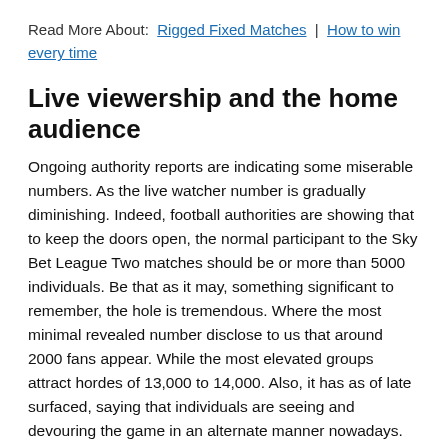Read More About: Rigged Fixed Matches | How to win every time
Live viewership and the home audience
Ongoing authority reports are indicating some miserable numbers. As the live watcher number is gradually diminishing. Indeed, football authorities are showing that to keep the doors open, the normal participant to the Sky Bet League Two matches should be or more than 5000 individuals. Be that as it may, something significant to remember, the hole is tremendous. Where the most minimal revealed number disclose to us that around 2000 fans appear. While the most elevated groups attract hordes of 13,000 to 14,000. Also, it has as of late surfaced, saying that individuals are seeing and devouring the game in an alternate manner nowadays. Highlighting web-based media, streaming and sportsbook stages.
Can you place bets on Sky Bet League Two?